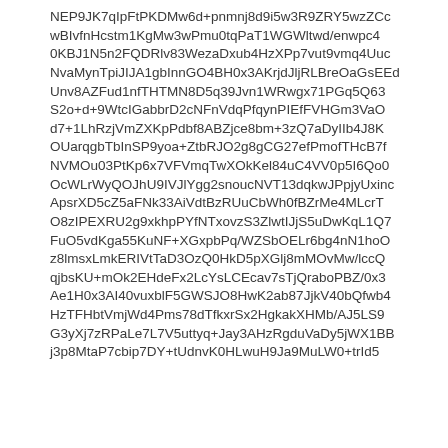NEP9JK7qIpFtPKDMw6d+pnmnj8d9i5w3R9ZRY5wzZCcwBIvfnHcstm1KgMw3wPmu0tqPaT1WGWltwd/enwpc40KBJ1N5n2FQDRlv83WezaDxub4HzXPp7vut9vmq4UucNvaMynTpiJIJA1gbInnGO4BH0x3AKrjdJljRLBreOaGsEEdUnv8AZFud1nfTHTMN8D5q39Jvn1WRwgx71PGq5Q63S2o+d+9WtcIGabbrD2cNFnVdqPfqynPIEfFVHGm3VaOd7+1LhRzjVmZXKpPdbf8ABZjce8bm+3zQ7aDyIIb4J8KOUarqgbTbInSP9yoa+ZtbRJO2g8gCG27efPmofTHcB7fNVMOu03PtKp6x7VFVmqTwXOkKel84uC4VV0p5I6Qo0OcWLrWyQOJhU9IVJlYgg2snoucNVT13dqkwJPpjyUxincApsrXD5cZ5aFNk33AiVdtBzRUuCbWh0fBZrMe4MLcrTO8zIPEXRU2g9xkhpPYfNTxovzS3ZlwtIJjS5uDwKqL1Q7FuO5vdKga55KuNF+XGxpbPq/WZSbOELr6bg4nN1hoOz8lmsxLmkERIVtTaD3OzQ0HkD5pXGlj8mMOvMw/lccQqjbsKU+mOk2EHdeFx2LcYsLCEcav7sTjQraboPBZ/0x3Ae1H0x3AI40vuxblF5GWSJO8HwK2ab87JjkV40bQfwb4HzTFHbtVmjWd4Pms78dTfkxrSx2HgkakXHMb/AJ5LS9G3yXj7zRPaLe7L7V5uttyq+Jay3AHzRgduVaDy5jWX1BBj3p8MtaP7cbip7DY+tUdnvK0HLwuH9Ja9MuLW0+trId5